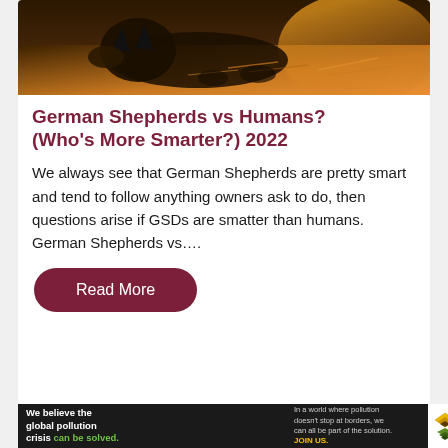[Figure (photo): Hero image showing a German Shepherd dog outdoors with soil/earth tones and warm lighting]
German Shepherds vs Humans? (Who's More Smarter?) 2022
We always see that German Shepherds are pretty smart and tend to follow anything owners ask to do, then questions arise if GSDs are smatter than humans. German Shepherds vs….
Read More
[Figure (infographic): Pure Earth advertisement banner: 'We believe the global pollution crisis can be solved. In a world where pollution doesn't stop at borders, we can all be part of the solution. JOIN US.' with Pure Earth logo.]